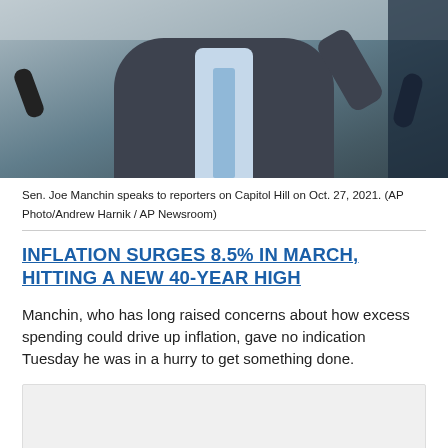[Figure (photo): Sen. Joe Manchin speaking to reporters, man in dark suit with light blue tie and shirt, holding microphone, arm raised, Capitol Hill setting]
Sen. Joe Manchin speaks to reporters on Capitol Hill on Oct. 27, 2021. (AP Photo/Andrew Harnik / AP Newsroom)
INFLATION SURGES 8.5% IN MARCH, HITTING A NEW 40-YEAR HIGH
Manchin, who has long raised concerns about how excess spending could drive up inflation, gave no indication Tuesday he was in a hurry to get something done.